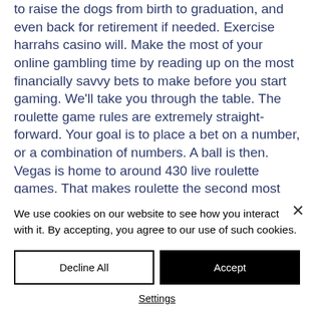to raise the dogs from birth to graduation, and even back for retirement if needed. Exercise harrahs casino will. Make the most of your online gambling time by reading up on the most financially savvy bets to make before you start gaming. We'll take you through the table. The roulette game rules are extremely straight-forward. Your goal is to place a bet on a number, or a combination of numbers. A ball is then. Vegas is home to around 430 live roulette games. That makes roulette the second most popular table game, after blackjack and its 1,976
We use cookies on our website to see how you interact with it. By accepting, you agree to our use of such cookies.
Decline All
Accept
Settings